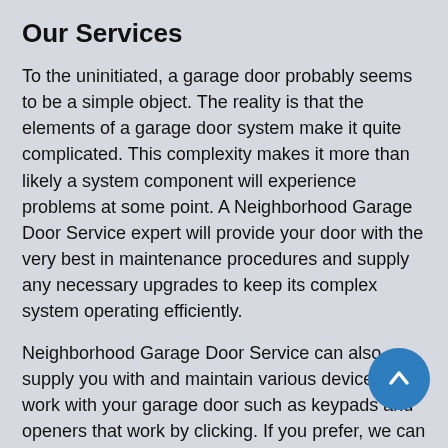Our Services
To the uninitiated, a garage door probably seems to be a simple object. The reality is that the elements of a garage door system make it quite complicated. This complexity makes it more than likely a system component will experience problems at some point. A Neighborhood Garage Door Service expert will provide your door with the very best in maintenance procedures and supply any necessary upgrades to keep its complex system operating efficiently.
Neighborhood Garage Door Service can also supply you with and maintain various devices that work with your garage door such as keypads and openers that work by clicking. If you prefer, we can provide you with an automatic door opener or a motion detector that will automatically function when an individual or vehicle enters your garage. We carry a broader array of opening devices than our competitors. In fact Neighborhood Garage Door